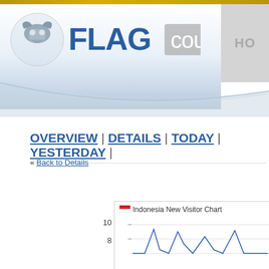[Figure (logo): Flag Counter logo with eagle/flag icon and text FLAG counter]
HO
OVERVIEW | DETAILS | TODAY | YESTERDAY |
« Back to Details
[Figure (line-chart): Line chart showing Indonesia new visitor data, y-axis shows values 8 and 10 visible, with a line chart having peaks around 8 and higher values]